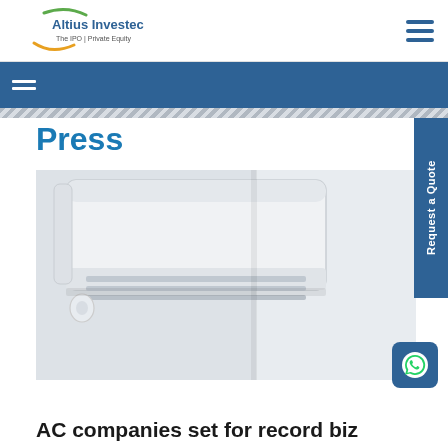Altius Investech — The IPO | Private Equity
Press
[Figure (photo): Close-up photo of a white wall-mounted air conditioning unit installed on a white wall, viewed from below at an angle.]
AC companies set for record biz